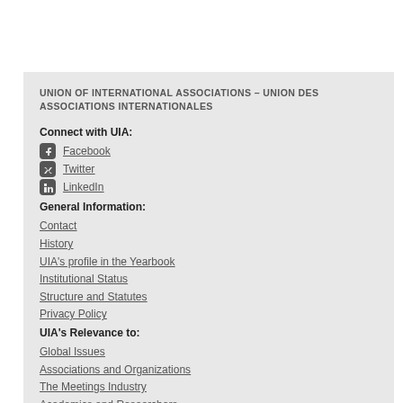UNION OF INTERNATIONAL ASSOCIATIONS – UNION DES ASSOCIATIONS INTERNATIONALES
Connect with UIA:
Facebook
Twitter
LinkedIn
General Information:
Contact
History
UIA's profile in the Yearbook
Institutional Status
Structure and Statutes
Privacy Policy
UIA's Relevance to:
Global Issues
Associations and Organizations
The Meetings Industry
Academics and Researchers
Library & Archive:
Publications Archive